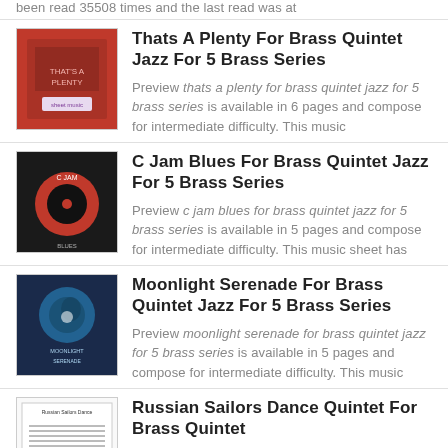been read 35508 times and the last read was at
Thats A Plenty For Brass Quintet Jazz For 5 Brass Series
Preview thats a plenty for brass quintet jazz for 5 brass series is available in 6 pages and compose for intermediate difficulty. This music
C Jam Blues For Brass Quintet Jazz For 5 Brass Series
Preview c jam blues for brass quintet jazz for 5 brass series is available in 5 pages and compose for intermediate difficulty. This music sheet has
Moonlight Serenade For Brass Quintet Jazz For 5 Brass Series
Preview moonlight serenade for brass quintet jazz for 5 brass series is available in 5 pages and compose for intermediate difficulty. This music
Russian Sailors Dance Quintet For Brass Quintet
Preview russian sailors dance quintet for brass quintet is available in 6 pages and compose for advanced difficulty. This music sheet has been